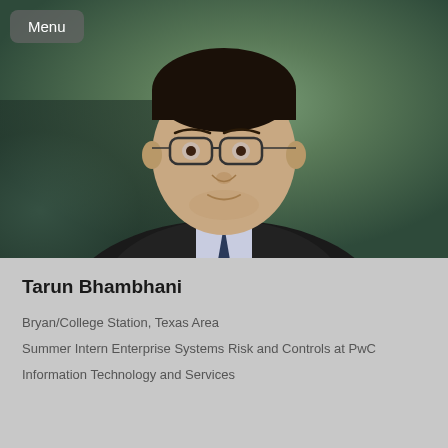[Figure (photo): Professional headshot of Tarun Bhambhani, a man wearing glasses and a dark suit with a light patterned shirt, photographed against a muted green/teal background. A 'Menu' button overlay appears in the top-left corner.]
Tarun Bhambhani
Bryan/College Station, Texas Area
Summer Intern Enterprise Systems Risk and Controls at PwC
Information Technology and Services